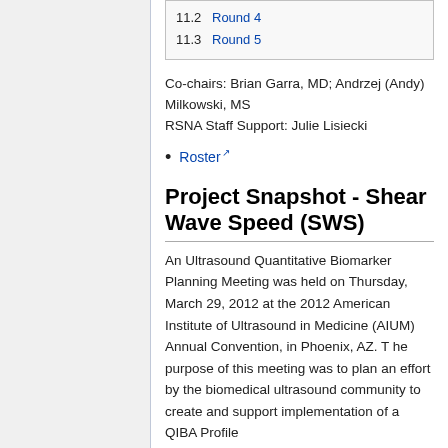11.2 Round 4
11.3 Round 5
Co-chairs: Brian Garra, MD; Andrzej (Andy) Milkowski, MS
RSNA Staff Support: Julie Lisiecki
Roster
Project Snapshot - Shear Wave Speed (SWS)
An Ultrasound Quantitative Biomarker Planning Meeting was held on Thursday, March 29, 2012 at the 2012 American Institute of Ultrasound in Medicine (AIUM) Annual Convention, in Phoenix, AZ. T he purpose of this meeting was to plan an effort by the biomedical ultrasound community to create and support implementation of a QIBA Profile